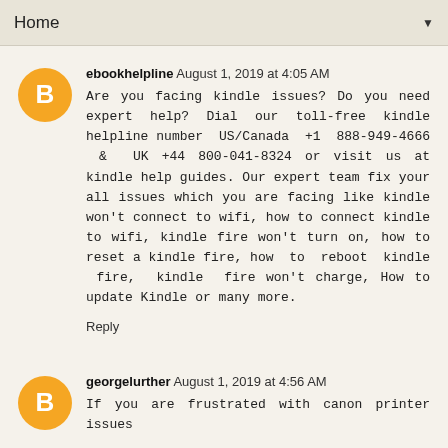Home ▼
ebookhelpline August 1, 2019 at 4:05 AM
Are you facing kindle issues? Do you need expert help? Dial our toll-free kindle helpline number US/Canada +1 888-949-4666 & UK +44 800-041-8324 or visit us at kindle help guides. Our expert team fix your all issues which you are facing like kindle won't connect to wifi, how to connect kindle to wifi, kindle fire won't turn on, how to reset a kindle fire, how to reboot kindle fire, kindle fire won't charge, How to update Kindle or many more.
Reply
georgelurther August 1, 2019 at 4:56 AM
If you are frustrated with canon printer issues